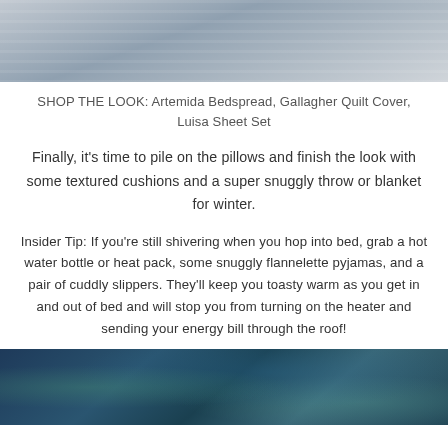[Figure (photo): Top portion of a bedroom scene showing layered bedding in neutral grey and striped blue tones, partially cropped at top.]
SHOP THE LOOK: Artemida Bedspread, Gallagher Quilt Cover, Luisa Sheet Set
Finally, it's time to pile on the pillows and finish the look with some textured cushions and a super snuggly throw or blanket for winter.
Insider Tip: If you're still shivering when you hop into bed, grab a hot water bottle or heat pack, some snuggly flannelette pyjamas, and a pair of cuddly slippers. They'll keep you toasty warm as you get in and out of bed and will stop you from turning on the heater and sending your energy bill through the roof!
[Figure (photo): Bottom portion of a bedroom scene showing decorative blue patterned quilt cover with teal/green motifs and a light aqua textured throw, partially cropped.]